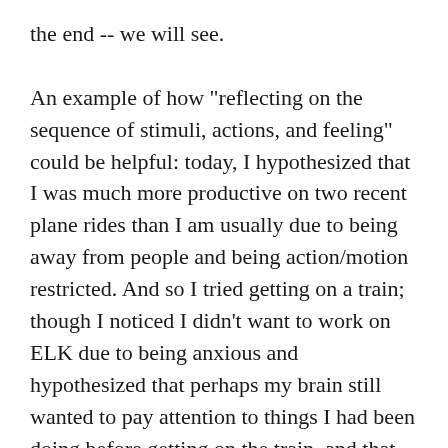the end -- we will see.

An example of how "reflecting on the sequence of stimuli, actions, and feeling" could be helpful: today, I hypothesized that I was much more productive on two recent plane rides than I am usually due to being away from people and being action/motion restricted. And so I tried getting on a train; though I noticed I didn't want to work on ELK due to being anxious and hypothesized that perhaps my brain still wanted to pay attention to things I had been doing before getting on the train, and that, maybe, an additional reason I am productive on planes is due to security lines